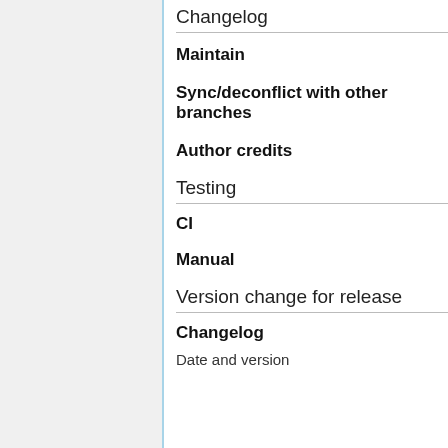Changelog
Maintain
Sync/deconflict with other branches
Author credits
Testing
CI
Manual
Version change for release
Changelog
Date and version